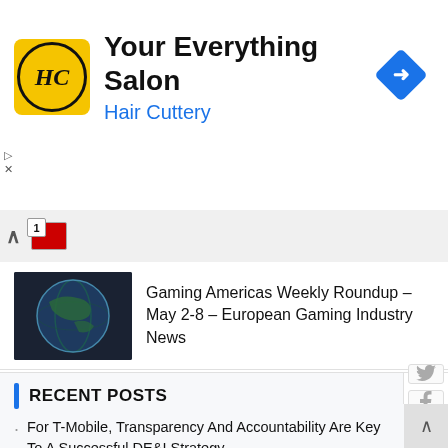[Figure (other): Hair Cuttery advertisement banner with logo and 'Your Everything Salon' text]
[Figure (other): Browser tab bar with back arrow and tab count badge]
[Figure (photo): Article thumbnail showing a globe image]
Gaming Americas Weekly Roundup – May 2-8 – European Gaming Industry News
RECENT POSTS
For T-Mobile, Transparency And Accountability Are Key To A Successful DE&I Strategy
Synology FlashStation FS3410: New 24-bay NAS unveiled
Huge Part of Ethereum (ETH), Cosmos (ATOM) Nodes Might Be in Danger, Here's Why
Trump admits that he was only elected because of a 'fake investigation' by James Comey